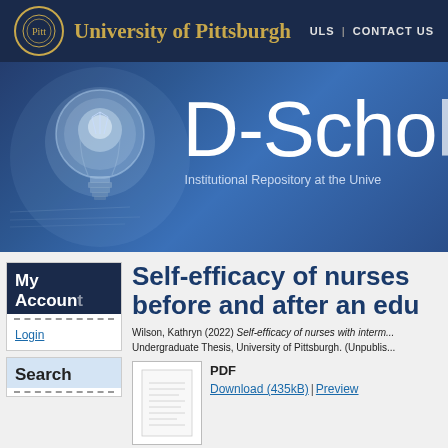University of Pittsburgh | ULS | CONTACT US
[Figure (screenshot): D-Scholarship banner with lightbulb image and text 'D-Scholarship Institutional Repository at the Unive...']
Self-efficacy of nurses before and after an edu...
Wilson, Kathryn (2022) Self-efficacy of nurses with interm... Undergraduate Thesis, University of Pittsburgh. (Unpublis...
PDF
Download (435kB) | Preview